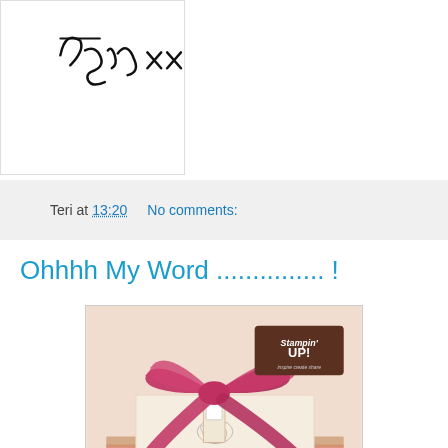[Figure (illustration): Handwritten signature reading 'Teri xx' in black ink on white background]
Teri at 13:20   No comments:
Ohhhh My Word ............... !
[Figure (photo): Stampin' Up! catalog cover photo showing a gift wrapped with a large pink satin bow sitting on top of stacked ribbon and craft items on a peach/cream background, with Stampin' Up! logo in upper right]